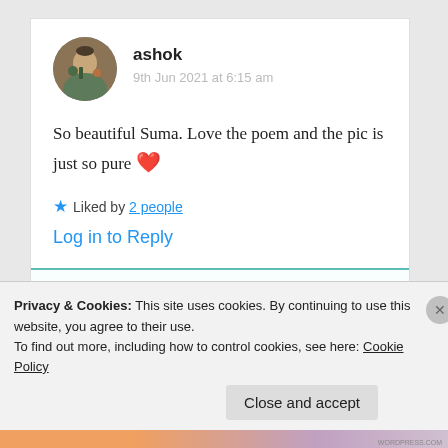ashok
9th Jun 2021 at 6:15 am
So beautiful Suma. Love the poem and the pic is just so pure ❤️
★ Liked by 2 people
Log in to Reply
Privacy & Cookies: This site uses cookies. By continuing to use this website, you agree to their use.
To find out more, including how to control cookies, see here: Cookie Policy
Close and accept